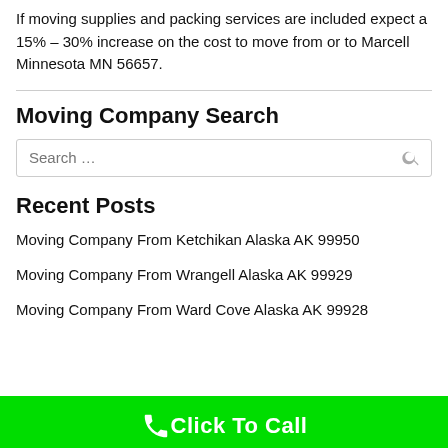If moving supplies and packing services are included expect a 15% – 30% increase on the cost to move from or to Marcell Minnesota MN 56657.
Moving Company Search
Recent Posts
Moving Company From Ketchikan Alaska AK 99950
Moving Company From Wrangell Alaska AK 99929
Moving Company From Ward Cove Alaska AK 99928
Click To Call